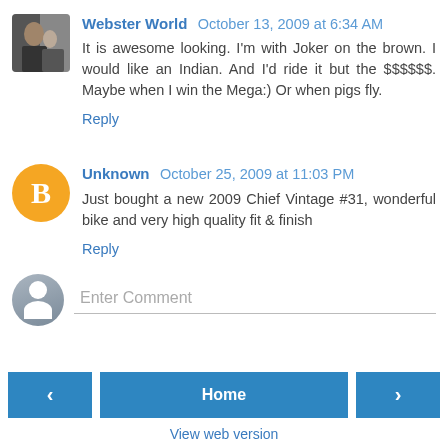Webster World  October 13, 2009 at 6:34 AM
It is awesome looking. I'm with Joker on the brown. I would like an Indian. And I'd ride it but the $$$$$$. Maybe when I win the Mega:) Or when pigs fly.
Reply
Unknown  October 25, 2009 at 11:03 PM
Just bought a new 2009 Chief Vintage #31, wonderful bike and very high quality fit & finish
Reply
Enter Comment
Home
View web version